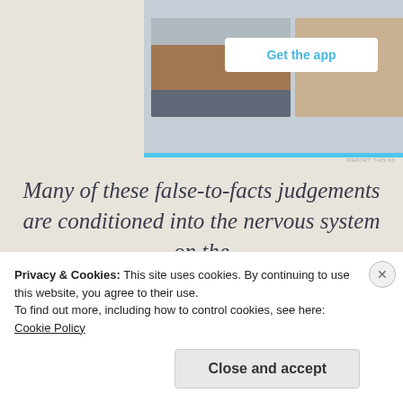[Figure (screenshot): App advertisement banner showing a phone screenshot and 'Get the app' button on blue background]
Many of these false-to-facts judgements are conditioned into the nervous system on the 'unconscious' level, and can be carried over to adulthood.
Hence, we have a well educated man or woman
Privacy & Cookies: This site uses cookies. By continuing to use this website, you agree to their use.
To find out more, including how to control cookies, see here:
Cookie Policy
Close and accept